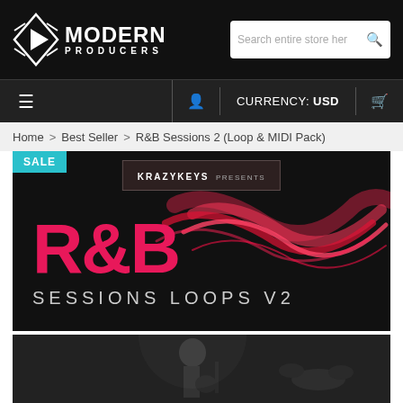[Figure (logo): Modern Producers logo with triangular play button icon and white text on black background]
Search entire store here
≡   👤   CURRENCY: USD   🛒
Home > Best Seller > R&B Sessions 2 (Loop & MIDI Pack)
[Figure (photo): R&B Sessions Loops V2 product banner. Black background with pink/red wavy smoke lines, large pink R&B lettering, text SESSIONS LOOPS V2, KRAZYKEYS PRESENTS badge, and SALE badge in teal]
[Figure (photo): Bottom portion showing musicians playing guitar and drums in dark setting]